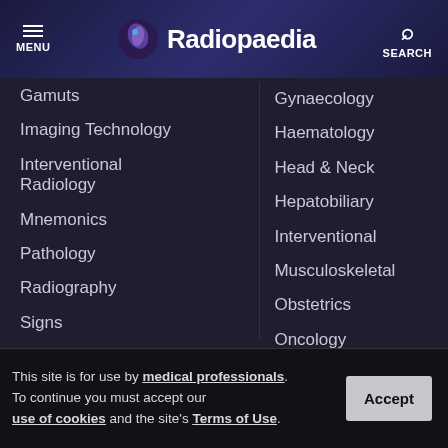Radiopaedia — MENU | SEARCH
Gamuts
Imaging Technology
Interventional Radiology
Mnemonics
Pathology
Radiography
Signs
Staging
Syndromes
Gynaecology
Haematology
Head & Neck
Hepatobiliary
Interventional
Musculoskeletal
Obstetrics
Oncology
Paediatrics
This site is for use by medical professionals. To continue you must accept our use of cookies and the site's Terms of Use.